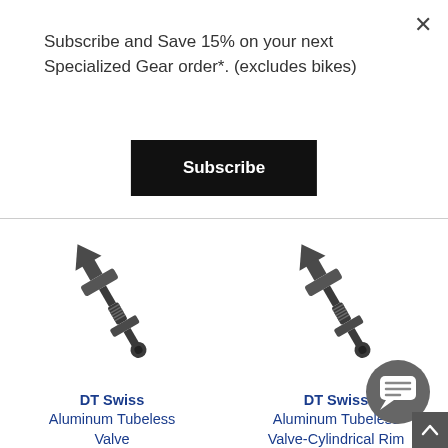Subscribe and Save 15% on your next Specialized Gear order*. (excludes bikes)
Subscribe
[Figure (photo): DT Swiss Aluminum Tubeless Valve product photo - dark metal valve component]
DT Swiss
Aluminum Tubeless Valve
$11.70
[Figure (photo): DT Swiss Aluminum Tubeless Valve-Cylindrical Rim product photo - dark metal valve component]
DT Swiss
Aluminum Tubeless Valve-Cylindrical Rim
$11.70